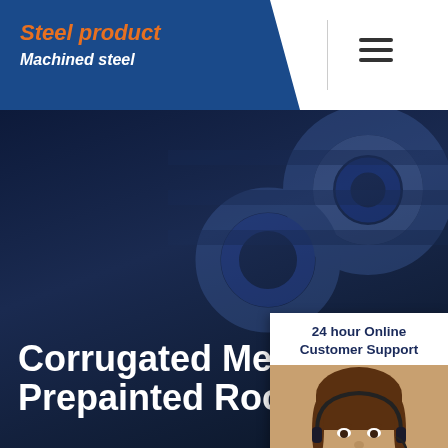Steel product
Machined steel
Corrugated Metal Prepainted Roofing Sheet
[Figure (photo): Customer support representative woman wearing headset, with 24 hour Online Customer Support panel, Hello How may I help you text, and Chat Now button]
Home > Steel Tube > Corrugated Metal Prepainted Roofing Sheet